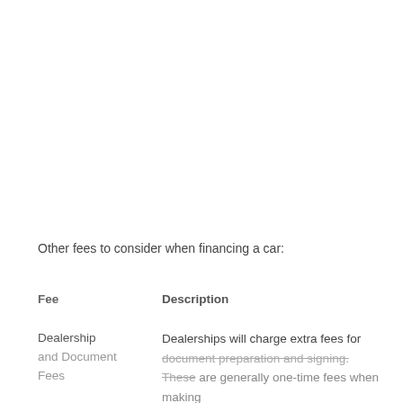Other fees to consider when financing a car:
| Fee | Description |
| --- | --- |
| Dealership and Document Fees | Dealerships will charge extra fees for document preparation and signing. These are generally one-time fees when making the purchase. |